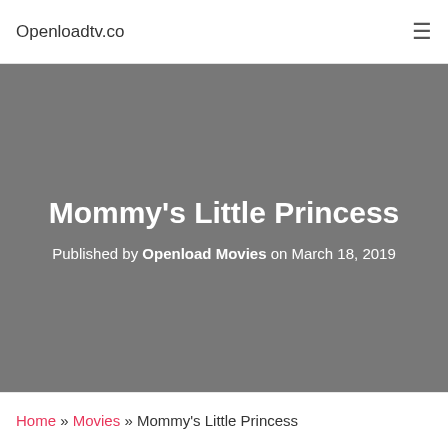Openloadtv.co
Mommy's Little Princess
Published by Openload Movies on March 18, 2019
Home » Movies » Mommy's Little Princess